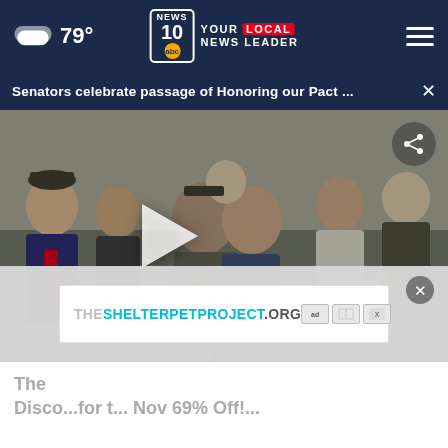79° NEWS 10 abc YOUR LOCAL NEWS LEADER
Senators celebrate passage of Honoring our Pact ...
[Figure (screenshot): Video thumbnail showing a group of people at an outdoor event, two people hugging in center, others clapping around them. Play button overlay visible. Share button in top right.]
[Figure (screenshot): Advertisement overlay: THESHELTERPETPROJECT.ORG with ad badges]
The ... Disco...for t... Nov 69% Off!...